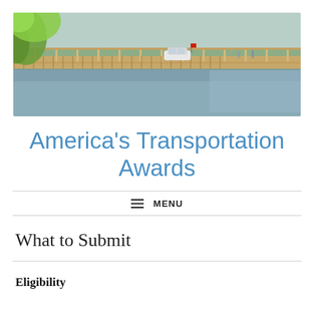[Figure (photo): Aerial/side view of a wooden bridge over water with a white car driving across, green trees on the left, calm water reflecting the bridge on the right.]
America's Transportation Awards
≡ MENU
What to Submit
Eligibility